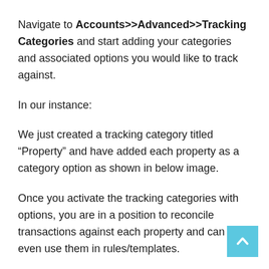Navigate to Accounts>>Advanced>>Tracking Categories and start adding your categories and associated options you would like to track against.
In our instance:
We just created a tracking category titled “Property” and have added each property as a category option as shown in below image.
Once you activate the tracking categories with options, you are in a position to reconcile transactions against each property and can even use them in rules/templates.
i.e.
Each time a transaction is created in the form of an invoice or